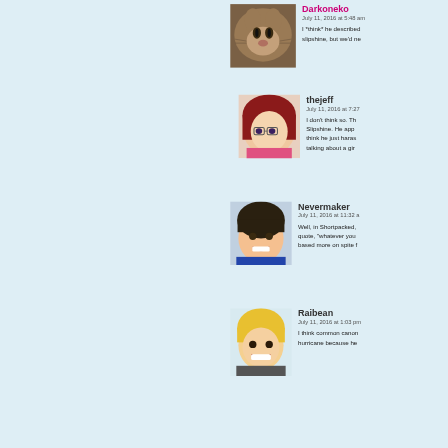Darkoneko
July 11, 2016 at 5:48 am
I *think* he described slipshine, but we'd ne
thejeff
July 11, 2016 at 7:27
I don't think so. Th Slipshine. He app think he just haras talking about a gir
Nevermaker
July 11, 2016 at 11:32 a
Well, in Shortpacked, quote, "whatever you based more on spite f
Raibean
July 11, 2016 at 1:03 pm
I think common canon hurricane because he